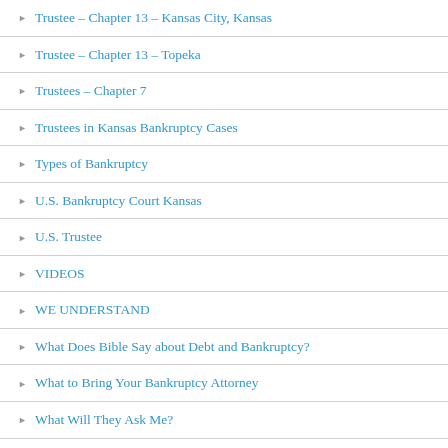Trustee – Chapter 13 – Kansas City, Kansas
Trustee – Chapter 13 – Topeka
Trustees – Chapter 7
Trustees in Kansas Bankruptcy Cases
Types of Bankruptcy
U.S. Bankruptcy Court Kansas
U.S. Trustee
VIDEOS
WE UNDERSTAND
What Does Bible Say about Debt and Bankruptcy?
What to Bring Your Bankruptcy Attorney
What Will They Ask Me?